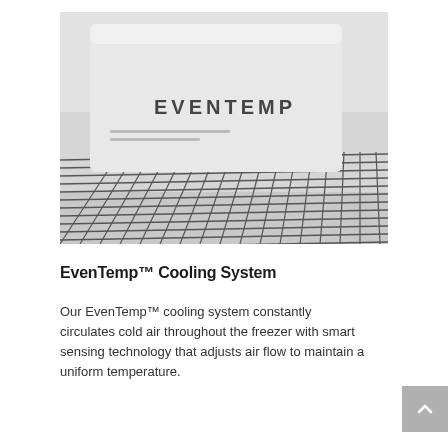[Figure (photo): Black and white photograph of an EVENTEMP branded panel/plate resting on a wire freezer shelf rack. The panel is white/light colored with the word EVENTEMP printed on it in dark letters. The wire grid shelf is visible beneath and around the panel.]
EvenTemp™ Cooling System
Our EvenTemp™ cooling system constantly circulates cold air throughout the freezer with smart sensing technology that adjusts air flow to maintain a uniform temperature.